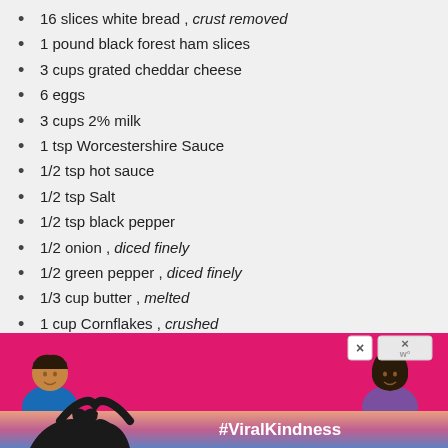16 slices white bread , crust removed
1 pound black forest ham slices
3 cups grated cheddar cheese
6 eggs
3 cups 2% milk
1 tsp Worcestershire Sauce
1/2 tsp hot sauce
1/2 tsp Salt
1/2 tsp black pepper
1/2 onion , diced finely
1/2 green pepper , diced finely
1/3 cup butter , melted
1 cup Cornflakes , crushed
[Figure (other): Advertisement banner with pink background showing two illustrated characters and #ViralKindness hashtag, with a hands-forming-heart image below]